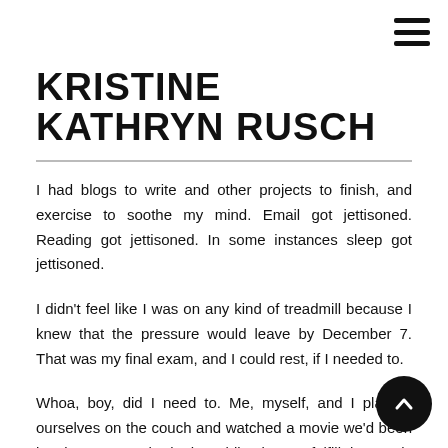≡
KRISTINE KATHRYN RUSCH
I had blogs to write and other projects to finish, and exercise to soothe my mind. Email got jettisoned. Reading got jettisoned. In some instances sleep got jettisoned.
I didn't feel like I was on any kind of treadmill because I knew that the pressure would leave by December 7. That was my final exam, and I could rest, if I needed to.
Whoa, boy, did I need to. Me, myself, and I planted ourselves on the couch and watched a movie we'd been longing to see. I had other obligations to fulfill, but I only did a few of them.